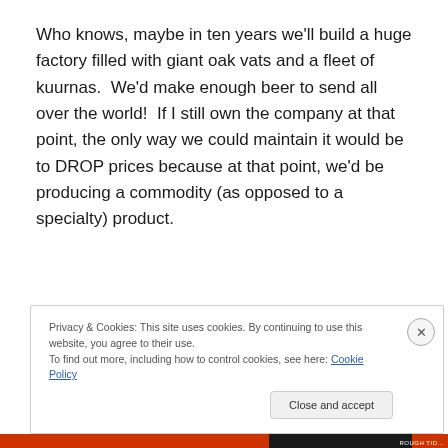Who knows, maybe in ten years we'll build a huge factory filled with giant oak vats and a fleet of kuurnas.  We'd make enough beer to send all over the world!  If I still own the company at that point, the only way we could maintain it would be to DROP prices because at that point, we'd be producing a commodity (as opposed to a specialty) product.
Privacy & Cookies: This site uses cookies. By continuing to use this website, you agree to their use.
To find out more, including how to control cookies, see here: Cookie Policy